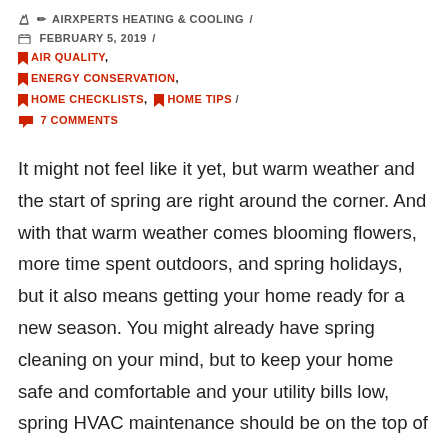✏ AIRXPERTS HEATING & COOLING / 📅 FEBRUARY 5, 2019 /
AIR QUALITY,
ENERGY CONSERVATION,
HOME CHECKLISTS, HOME TIPS /
💬 7 COMMENTS
It might not feel like it yet, but warm weather and the start of spring are right around the corner. And with that warm weather comes blooming flowers, more time spent outdoors, and spring holidays, but it also means getting your home ready for a new season. You might already have spring cleaning on your mind, but to keep your home safe and comfortable and your utility bills low, spring HVAC maintenance should be on the top of your to-do list.